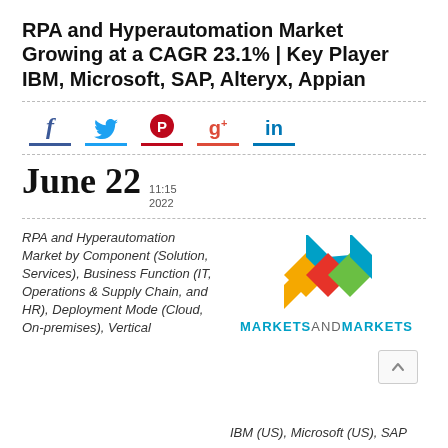RPA and Hyperautomation Market Growing at a CAGR 23.1% | Key Player IBM, Microsoft, SAP, Alteryx, Appian
[Figure (infographic): Social media share icons: Facebook (f), Twitter (bird), Pinterest (circle P), Google+ (g+), LinkedIn (in), each with a colored underline]
June 22  11:15  2022
RPA and Hyperautomation Market by Component (Solution, Services), Business Function (IT, Operations & Supply Chain, and HR), Deployment Mode (Cloud, On-premises), Vertical
[Figure (logo): MarketsandMarkets logo with colorful diamond shapes and company name]
IBM (US), Microsoft (US), SAP